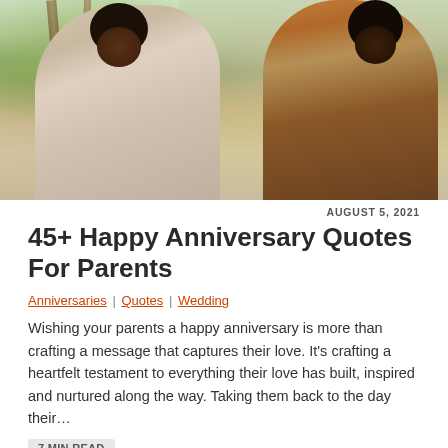[Figure (photo): A happy older Black couple laughing outdoors among trees; the woman wears a cream top with arms folded, the man wears a plaid shirt and embraces her from behind.]
AUGUST 5, 2021
45+ Happy Anniversary Quotes For Parents
Anniversaries | Quotes | Wedding
Wishing your parents a happy anniversary is more than crafting a message that captures their love. It's crafting a heartfelt testament to everything their love has built, inspired and nurtured along the way. Taking them back to the day their…
7 MIN READ
Read Article